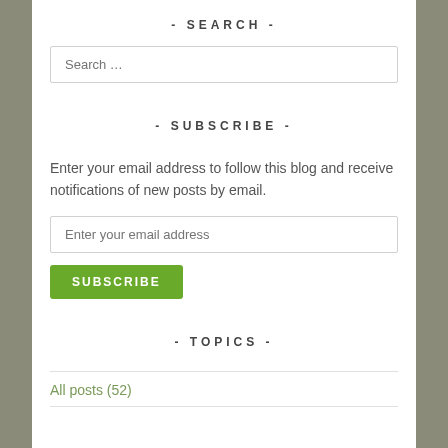- SEARCH -
Search …
- SUBSCRIBE -
Enter your email address to follow this blog and receive notifications of new posts by email.
Enter your email address
SUBSCRIBE
- TOPICS -
All posts (52)